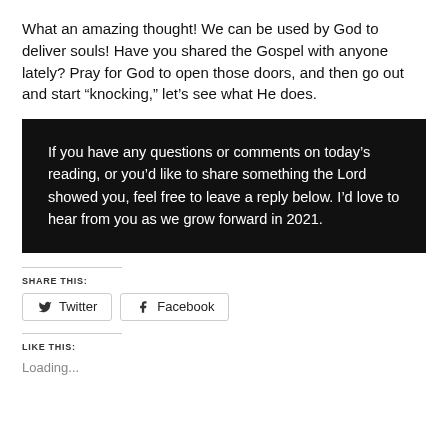What an amazing thought! We can be used by God to deliver souls! Have you shared the Gospel with anyone lately? Pray for God to open those doors, and then go out and start “knocking,” let’s see what He does.
If you have any questions or comments on today’s reading, or you’d like to share something the Lord showed you, feel free to leave a reply below. I’d love to hear from you as we grow forward in 2021.
SHARE THIS:
Twitter   Facebook
LIKE THIS:
Loading...